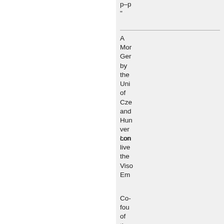p–p"
A Mor Ger by the Uni of Cze and Hun ver con
Lon live the Viso Em
Co-fou of the Ant con Inte